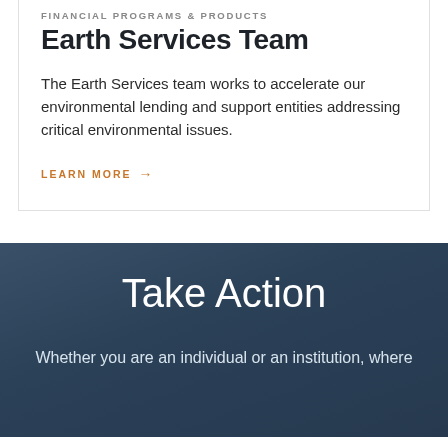FINANCIAL PROGRAMS & PRODUCTS
Earth Services Team
The Earth Services team works to accelerate our environmental lending and support entities addressing critical environmental issues.
LEARN MORE →
Take Action
Whether you are an individual or an institution, where